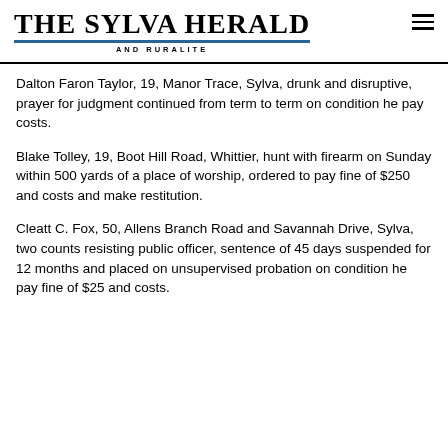THE SYLVA HERALD AND RURALITE
Dalton Faron Taylor, 19, Manor Trace, Sylva, drunk and disruptive, prayer for judgment continued from term to term on condition he pay costs.
Blake Tolley, 19, Boot Hill Road, Whittier, hunt with firearm on Sunday within 500 yards of a place of worship, ordered to pay fine of $250 and costs and make restitution.
Cleatt C. Fox, 50, Allens Branch Road and Savannah Drive, Sylva, two counts resisting public officer, sentence of 45 days suspended for 12 months and placed on unsupervised probation on condition he pay fine of $25 and costs.